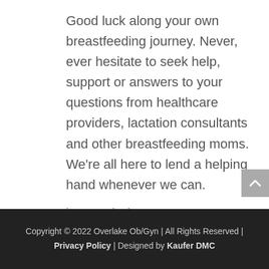Good luck along your own breastfeeding journey. Never, ever hesitate to seek help, support or answers to your questions from healthcare providers, lactation consultants and other breastfeeding moms. We're all here to lend a helping hand whenever we can.
image: pixabay.com
Copyright © 2022 Overlake Ob/Gyn | All Rights Reserved | Privacy Policy | Designed by Kaufer DMC